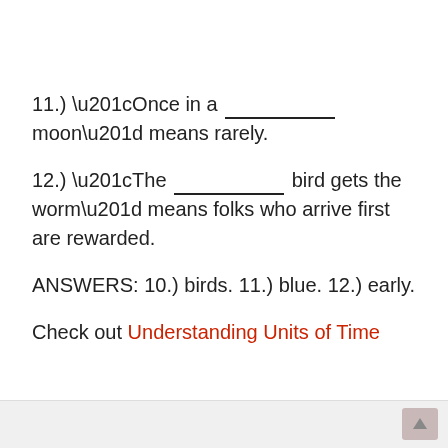11.) “Once in a __________ moon” means rarely.
12.) “The __________ bird gets the worm” means folks who arrive first are rewarded.
ANSWERS: 10.) birds. 11.) blue. 12.) early.
Check out Understanding Units of Time